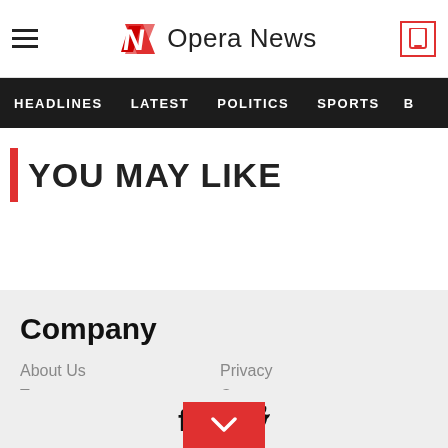Opera News - HEADLINES LATEST POLITICS SPORTS
YOU MAY LIKE
Company
About Us
Terms
DMCA
Privacy
Contact us
USA News
[Figure (logo): Opera News logo with red N and text, Facebook and Twitter social icons, red download button with chevron]